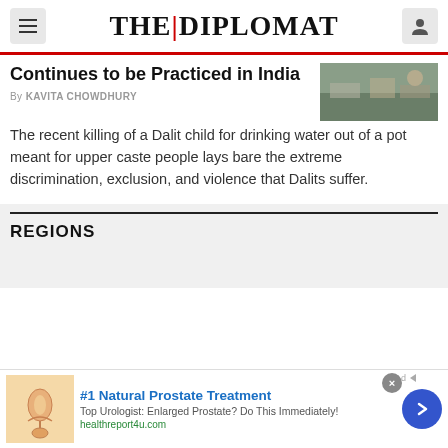THE DIPLOMAT
Continues to be Practiced in India
By KAVITA CHOWDHURY
The recent killing of a Dalit child for drinking water out of a pot meant for upper caste people lays bare the extreme discrimination, exclusion, and violence that Dalits suffer.
REGIONS
#1 Natural Prostate Treatment
Top Urologist: Enlarged Prostate? Do This Immediately!
healthreport4u.com